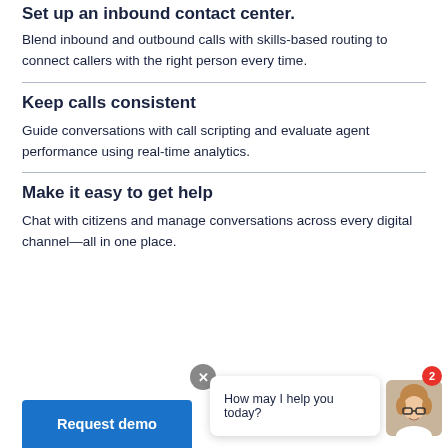Set up an inbound contact center.
Blend inbound and outbound calls with skills-based routing to connect callers with the right person every time.
Keep calls consistent
Guide conversations with call scripting and evaluate agent performance using real-time analytics.
Make it easy to get help
Chat with citizens and manage conversations across every digital channel—all in one place.
[Figure (screenshot): Chat widget with close button, speech bubble saying 'How may I help you today?', agent avatar with glasses, and red notification badge showing 2. Blue 'Request demo' button at bottom left.]